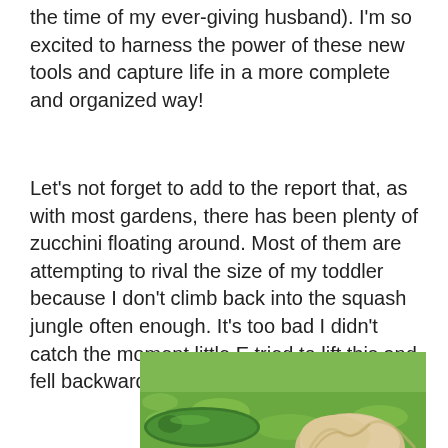the time of my ever-giving husband). I'm so excited to harness the power of these new tools and capture life in a more complete and organized way!
Let's not forget to add to the report that, as with most gardens, there has been plenty of zucchini floating around. Most of them are attempting to rival the size of my toddler because I don't climb back into the squash jungle often enough. It's too bad I didn't catch the moment little E tried to lift this and fell backward under it's weight, ha!
[Figure (photo): Outdoor photo showing green grass with a large zucchini and a child's light-colored hair visible at the bottom of the frame]